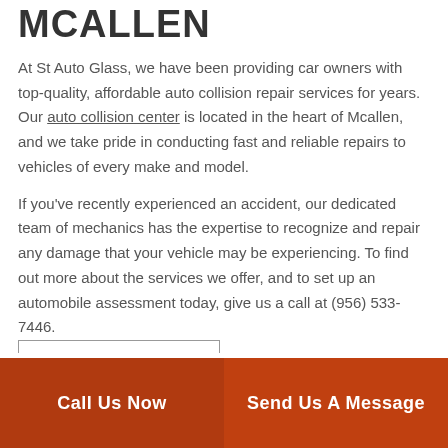MCALLEN
At St Auto Glass, we have been providing car owners with top-quality, affordable auto collision repair services for years. Our auto collision center is located in the heart of Mcallen, and we take pride in conducting fast and reliable repairs to vehicles of every make and model.
If you've recently experienced an accident, our dedicated team of mechanics has the expertise to recognize and repair any damage that your vehicle may be experiencing. To find out more about the services we offer, and to set up an automobile assessment today, give us a call at (956) 533-7446.
Call Us Now
Send Us A Message